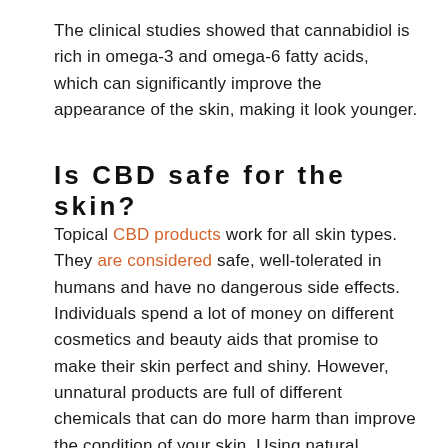The clinical studies showed that cannabidiol is rich in omega-3 and omega-6 fatty acids, which can significantly improve the appearance of the skin, making it look younger.
Is CBD safe for the skin?
Topical CBD products work for all skin types. They are considered safe, well-tolerated in humans and have no dangerous side effects. Individuals spend a lot of money on different cosmetics and beauty aids that promise to make their skin perfect and shiny. However, unnatural products are full of different chemicals that can do more harm than improve the condition of your skin. Using natural ingredients and solutions is the best way to go. CBD is one of the safe and potent natural options in the market. It is able to help with various skin conditions, such as dryness, redness, acne, eczema and psoriasis. It can manage ageing, wrinkles and dry skin. The benefits to enjoy it are huge. For this reason,